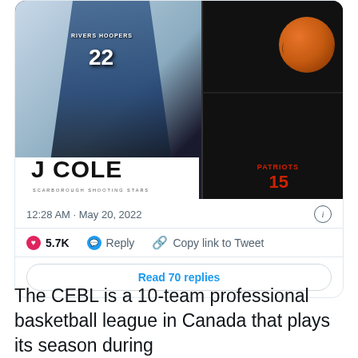[Figure (photo): J Cole basketball promotional graphic showing player in Scarborough Shooting Stars jersey #22 on left, and J Cole in Patriots #15 jersey on right with basketball, white banner at bottom reading 'J COLE SCARBOROUGH SHOOTING STARS']
12:28 AM · May 20, 2022
5.7K  Reply  Copy link to Tweet
Read 70 replies
The CEBL is a 10-team professional basketball league in Canada that plays its season during